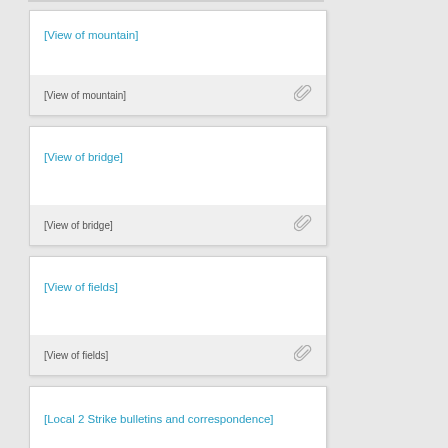[View of mountain]
[View of mountain]
[View of bridge]
[View of bridge]
[View of fields]
[View of fields]
[Local 2 Strike bulletins and correspondence]
[Local 2 Strike and